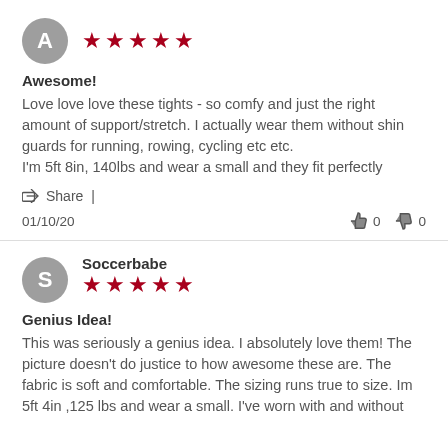[Figure (other): Reviewer avatar circle with letter A]
[Figure (other): Five red star rating]
Awesome!
Love love love these tights - so comfy and just the right amount of support/stretch. I actually wear them without shin guards for running, rowing, cycling etc etc.
I'm 5ft 8in, 140lbs and wear a small and they fit perfectly
Share |
01/10/20   👍 0   👎 0
[Figure (other): Reviewer avatar circle with letter S and name Soccerbabe]
[Figure (other): Five red star rating]
Genius Idea!
This was seriously a genius idea. I absolutely love them! The picture doesn't do justice to how awesome these are. The fabric is soft and comfortable. The sizing runs true to size. Im 5ft 4in ,125 lbs and wear a small. I've worn with and without